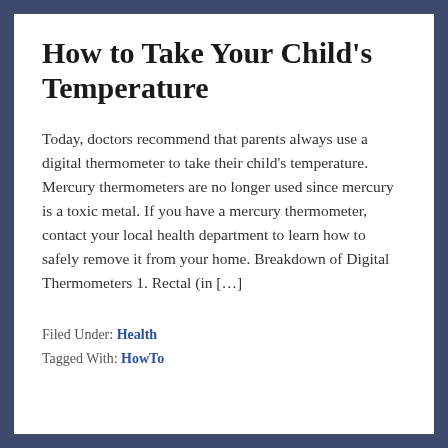How to Take Your Child's Temperature
Today, doctors recommend that parents always use a digital thermometer to take their child's temperature. Mercury thermometers are no longer used since mercury is a toxic metal. If you have a mercury thermometer, contact your local health department to learn how to safely remove it from your home. Breakdown of Digital Thermometers 1. Rectal (in […]
Filed Under: Health
Tagged With: HowTo